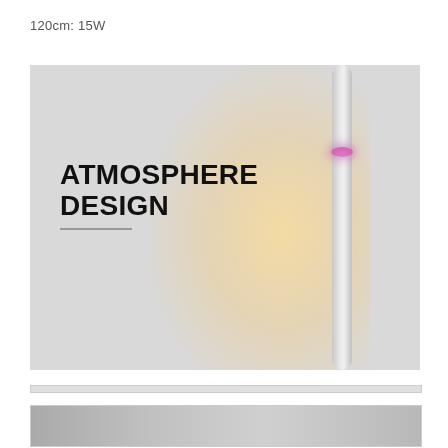120cm: 15W
[Figure (photo): Product photo of a slim vertical LED floor lamp mounted against a wall, showing warm white light glow on the wall and a pink/magenta accent ring near the top of the tube. Bold text overlay reads 'ATMOSPHERE DESIGN' with a short gray underline beneath.]
[Figure (photo): Partial view of a second product image at the bottom of the page, showing a light-colored surface.]